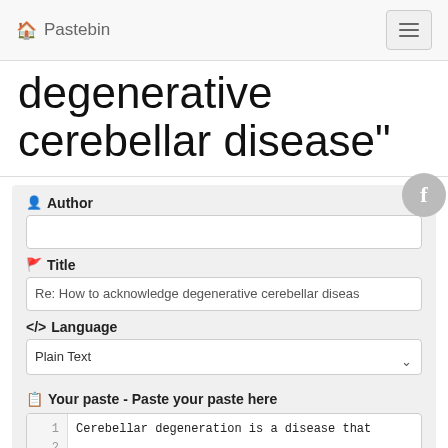🏠 Pastebin
degenerative cerebellar disease"
Author
Title: Re: How to acknowledge degenerative cerebellar disease
Language: Plain Text
Your paste - Paste your paste here
1  Cerebellar degeneration is a disease that
2
3